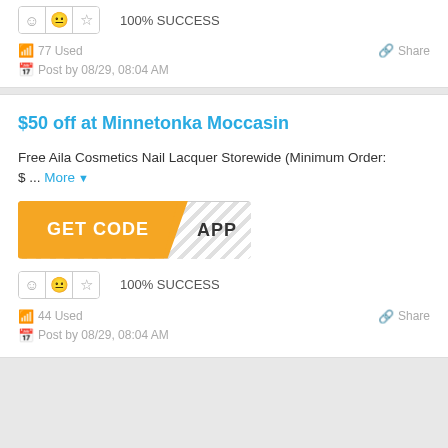[Figure (other): Rating icons row with smiley, neutral, star icons and 100% SUCCESS label]
77 Used
Share
Post by 08/29, 08:04 AM
$50 off at Minnetonka Moccasin
Free Aila Cosmetics Nail Lacquer Storewide (Minimum Order: $ ... More
[Figure (other): GET CODE button in orange with APP text on striped right side]
[Figure (other): Rating icons row with smiley, neutral, star icons and 100% SUCCESS label]
44 Used
Share
Post by 08/29, 08:04 AM